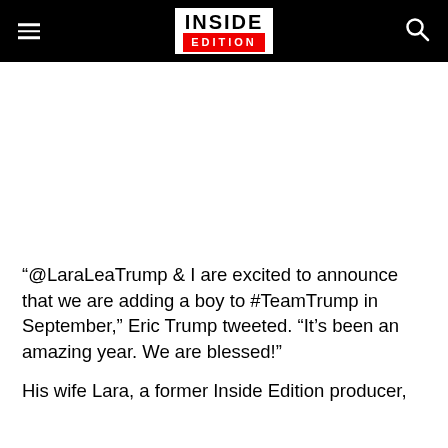INSIDE EDITION
[Figure (other): Advertisement/blank white area]
“@LaraLeaTrump & I are excited to announce that we are adding a boy to #TeamTrump in September,” Eric Trump tweeted. “It’s been an amazing year. We are blessed!”
His wife Lara, a former Inside Edition producer,